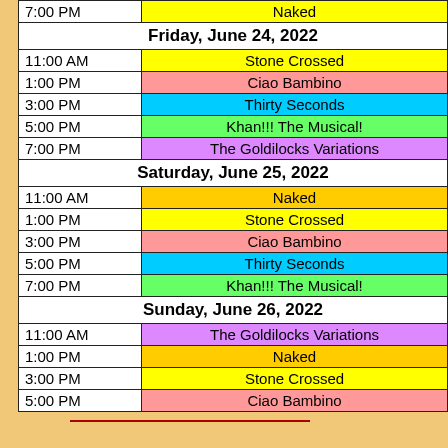| Time | Show |
| --- | --- |
| 7:00 PM | Naked |
| Friday, June 24, 2022 |  |
| 11:00 AM | Stone Crossed |
| 1:00 PM | Ciao Bambino |
| 3:00 PM | Thirty Seconds |
| 5:00 PM | Khan!!!  The Musical! |
| 7:00 PM | The Goldilocks Variations |
| Saturday, June 25, 2022 |  |
| 11:00 AM | Naked |
| 1:00 PM | Stone Crossed |
| 3:00 PM | Ciao Bambino |
| 5:00 PM | Thirty Seconds |
| 7:00 PM | Khan!!!  The Musical! |
| Sunday, June 26, 2022 |  |
| 11:00 AM | The Goldilocks Variations |
| 1:00 PM | Naked |
| 3:00 PM | Stone Crossed |
| 5:00 PM | Ciao Bambino |